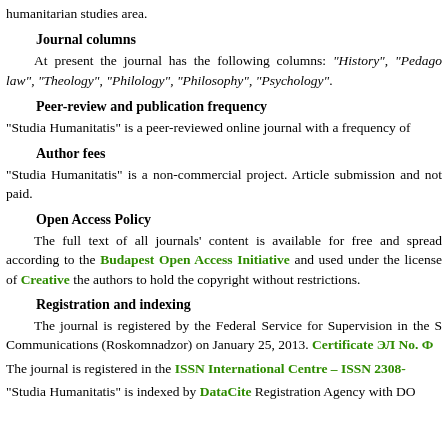humanitarian studies area.
Journal columns
At present the journal has the following columns: “History”, “Pedago law”, “Theology”, “Philology”, “Philosophy”, “Psychology”.
Peer-review and publication frequency
“Studia Humanitatis” is a peer-reviewed online journal with a frequency of
Author fees
“Studia Humanitatis” is a non-commercial project. Article submission and not paid.
Open Access Policy
The full text of all journals’ content is available for free and spread according to the Budapest Open Access Initiative and used under the license of Creative the authors to hold the copyright without restrictions.
Registration and indexing
The journal is registered by the Federal Service for Supervision in the S Communications (Roskomnadzor) on January 25, 2013. Certificate ЭЛ No. Ф
The journal is registered in the ISSN International Centre – ISSN 2308-
“Studia Humanitatis” is indexed by DataCite Registration Agency with DO